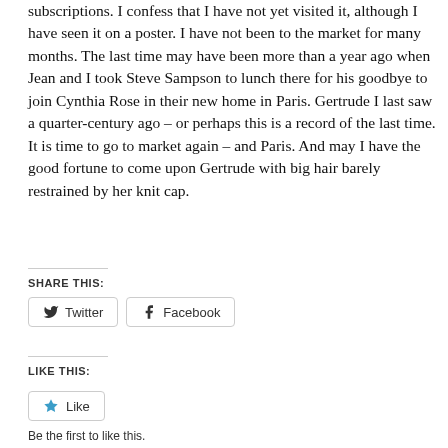subscriptions.  I confess that I have not yet visited it, although I have seen it on a poster.  I have not been to the market for many months.  The last time may have been more than a year ago when Jean and I took Steve Sampson to lunch there for his goodbye to join Cynthia Rose in their new home in Paris.  Gertrude I last saw a quarter-century ago – or perhaps this is a record of the last time.  It is time to go to market again – and Paris.  And may I have the good fortune to come upon Gertrude with big hair barely restrained by her knit cap.
SHARE THIS:
[Figure (other): Twitter and Facebook share buttons]
LIKE THIS:
[Figure (other): Like button with star icon]
Be the first to like this.